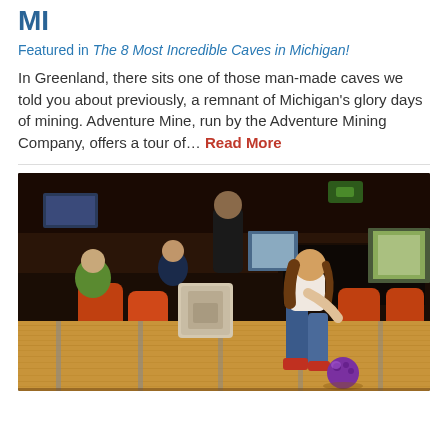MI
Featured in The 8 Most Incredible Caves in Michigan!
In Greenland, there sits one of those man-made caves we told you about previously, a remnant of Michigan's glory days of mining. Adventure Mine, run by the Adventure Mining Company, offers a tour of… Read More
[Figure (photo): A woman bowling at a bowling alley, leaning forward releasing a purple bowling ball down a lane. Other people are seated in the background watching. The alley has wooden lanes, red chairs, and colorful lighting.]